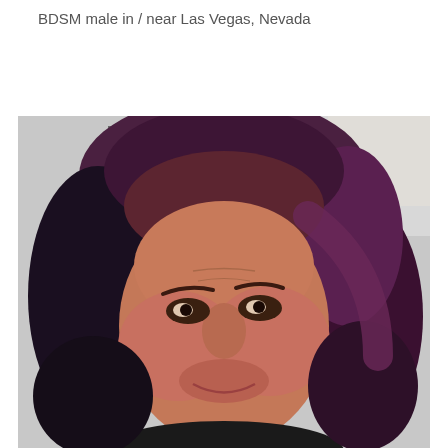BDSM male in / near Las Vegas, Nevada
[Figure (photo): Close-up photo of a middle-aged person with shoulder-length wavy hair that is dark with purple/reddish highlights, looking at the camera with a slight smile. Indoor background visible.]